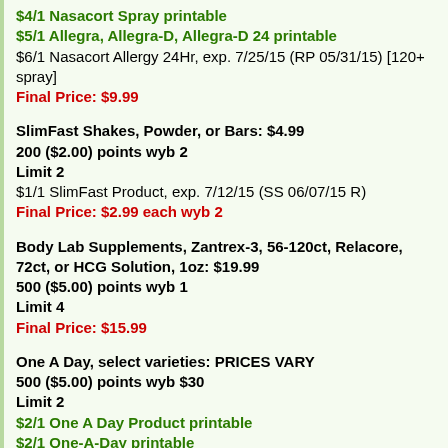$4/1 Nasacort Spray printable
$5/1 Allegra, Allegra-D, Allegra-D 24 printable
$6/1 Nasacort Allergy 24Hr, exp. 7/25/15 (RP 05/31/15) [120+ spray]
Final Price: $9.99
SlimFast Shakes, Powder, or Bars: $4.99
200 ($2.00) points wyb 2
Limit 2
$1/1 SlimFast Product, exp. 7/12/15 (SS 06/07/15 R)
Final Price: $2.99 each wyb 2
Body Lab Supplements, Zantrex-3, 56-120ct, Relacore, 72ct, or HCG Solution, 1oz: $19.99
500 ($5.00) points wyb 1
Limit 4
Final Price: $15.99
One A Day, select varieties: PRICES VARY
500 ($5.00) points wyb $30
Limit 2
$2/1 One A Day Product printable
$2/1 One-A-Day printable
$2/1 One A Day Product, exp. 7/25/15 (SS 06/14/15)
$2/1 One A Day Product, exp. 6/21/15 (RP 04/26/15)